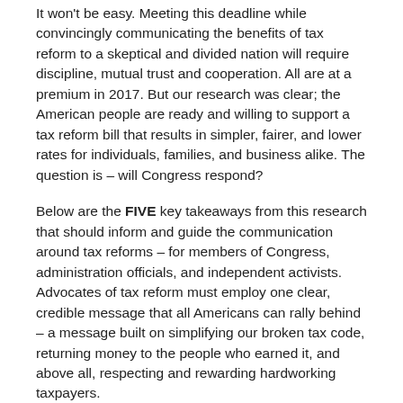It won't be easy. Meeting this deadline while convincingly communicating the benefits of tax reform to a skeptical and divided nation will require discipline, mutual trust and cooperation. All are at a premium in 2017. But our research was clear; the American people are ready and willing to support a tax reform bill that results in simpler, fairer, and lower rates for individuals, families, and business alike. The question is – will Congress respond?
Below are the FIVE key takeaways from this research that should inform and guide the communication around tax reforms – for members of Congress, administration officials, and independent activists. Advocates of tax reform must employ one clear, credible message that all Americans can rally behind – a message built on simplifying our broken tax code, returning money to the people who earned it, and above all, respecting and rewarding hardworking taxpayers.